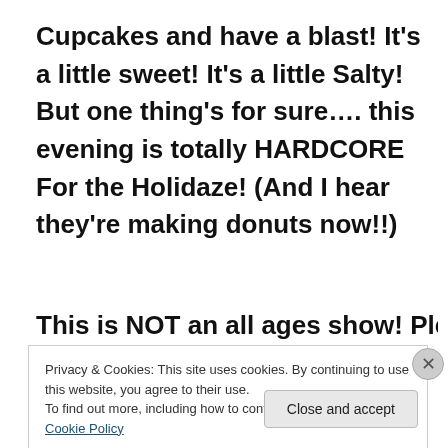Cupcakes and have a blast! It's a little sweet! It's a little Salty! But one thing's for sure…. this evening is totally HARDCORE For the Holidaze! (And I hear they're making donuts now!!)
This is NOT an all ages show! Please note
Privacy & Cookies: This site uses cookies. By continuing to use this website, you agree to their use.
To find out more, including how to control cookies, see here: Cookie Policy
Close and accept